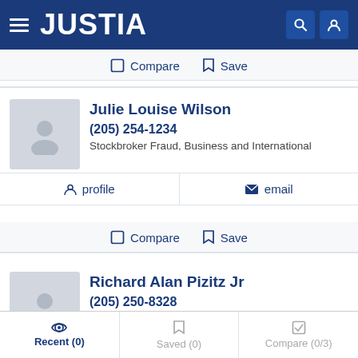JUSTIA
Compare  Save
Julie Louise Wilson
(205) 254-1234
Stockbroker Fraud, Business and International
profile   email
Compare  Save
Richard Alan Pizitz Jr
(205) 250-8328
Stockbroker Fraud, Business, Estate Planning and IP
Recent (0)   Saved (0)   Compare (0/3)